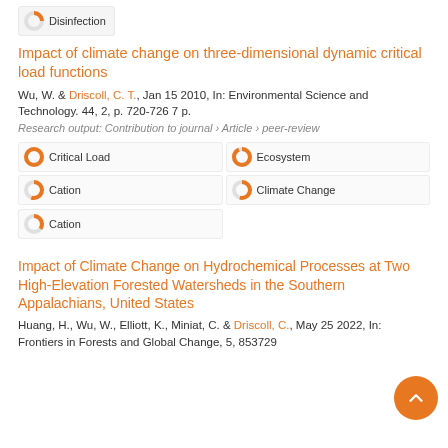[Figure (infographic): Partial donut/badge icon with label 'Disinfection' at the top of the page]
Impact of climate change on three-dimensional dynamic critical load functions
Wu, W. & Driscoll, C. T., Jan 15 2010, In: Environmental Science and Technology. 44, 2, p. 720-726 7 p.
Research output: Contribution to journal › Article › peer-review
[Figure (infographic): Keyword badges: Critical Load 100%, Ecosystem 93%, Cation 55%, Climate Change 54%, Cation 35%]
Impact of Climate Change on Hydrochemical Processes at Two High-Elevation Forested Watersheds in the Southern Appalachians, United States
Huang, H., Wu, W., Elliott, K., Miniat, C. & Driscoll, C., May 25 2022, In: Frontiers in Forests and Global Change, 5, 853729